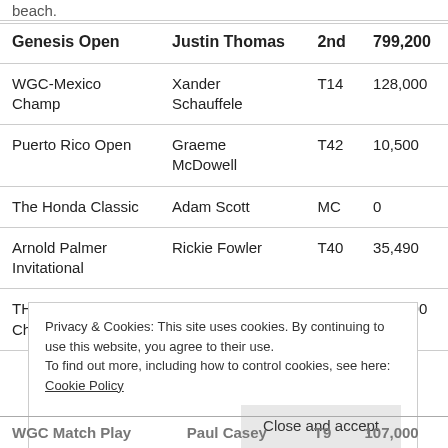| Tournament | Player | Finish | Earnings |
| --- | --- | --- | --- |
| Genesis Open | Justin Thomas | 2nd | 799,200 |
| WGC-Mexico Champ | Xander Schauffele | T14 | 128,000 |
| Puerto Rico Open | Graeme McDowell | T42 | 10,500 |
| The Honda Classic | Adam Scott | MC | 0 |
| Arnold Palmer Invitational | Rickie Fowler | T40 | 35,490 |
| THE PLAYERS Championship | Sergio Garcia | T22 | 125,000 |
| WGC Match Play | Paul Casey | T9 | 107,000 |
Privacy & Cookies: This site uses cookies. By continuing to use this website, you agree to their use.
To find out more, including how to control cookies, see here: Cookie Policy